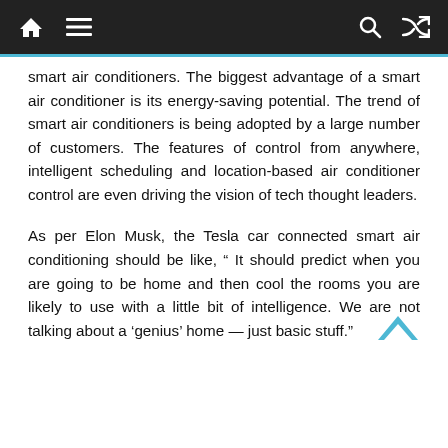[navigation bar with home, menu, search, and shuffle icons]
smart air conditioners. The biggest advantage of a smart air conditioner is its energy-saving potential. The trend of smart air conditioners is being adopted by a large number of customers. The features of control from anywhere, intelligent scheduling and location-based air conditioner control are even driving the vision of tech thought leaders.
As per Elon Musk, the Tesla car connected smart air conditioning should be like, “ It should predict when you are going to be home and then cool the rooms you are likely to use with a little bit of intelligence. We are not talking about a ‘genius’ home — just basic stuff.”